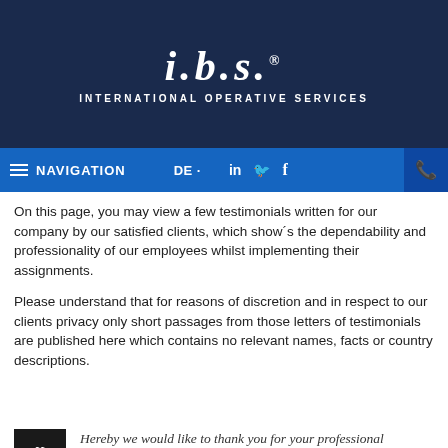[Figure (logo): i.b.s. International Operative Services logo on dark navy background]
≡ NAVIGATION   DE   in 🐦 f   📞
On this page, you may view a few testimonials written for our company by our satisfied clients, which show´s the dependability and professionality of our employees whilst implementing their assignments.
Please understand that for reasons of discretion and in respect to our clients privacy only short passages from those letters of testimonials are published here which contains no relevant names, facts or country descriptions.
Hereby we would like to thank you for your professional assistance over the past years.